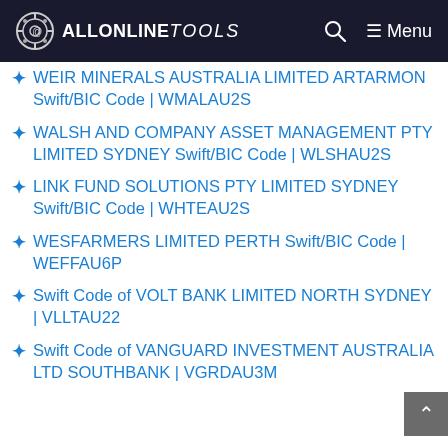ALLONLINETOOLS — Menu
WEIR MINERALS AUSTRALIA LIMITED ARTARMON Swift/BIC Code | WMALAU2S
WALSH AND COMPANY ASSET MANAGEMENT PTY LIMITED SYDNEY Swift/BIC Code | WLSHAU2S
LINK FUND SOLUTIONS PTY LIMITED SYDNEY Swift/BIC Code | WHTEAU2S
WESFARMERS LIMITED PERTH Swift/BIC Code | WEFFAU6P
Swift Code of VOLT BANK LIMITED NORTH SYDNEY | VLLTAU22
Swift Code of VANGUARD INVESTMENT AUSTRALIA LTD SOUTHBANK | VGRDAU3M